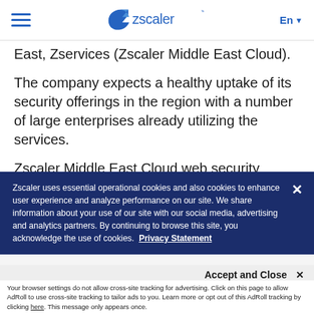Zscaler navigation header with hamburger menu, Zscaler logo, and language selector (En)
East, Zservices (Zscaler Middle East Cloud).
The company expects a healthy uptake of its security offerings in the region with a number of large enterprises already utilizing the services.
Zscaler Middle East Cloud web security leverages the world's largest global security cloud to deliver the industry's most comprehensive protection
Zscaler uses essential operational cookies and also cookies to enhance user experience and analyze performance on our site. We share information about your use of our site with our social media, advertising and analytics partners. By continuing to browse this site, you acknowledge the use of cookies.   Privacy Statement
Accept and Close ✕
Your browser settings do not allow cross-site tracking for advertising. Click on this page to allow AdRoll to use cross-site tracking to tailor ads to you. Learn more or opt out of this AdRoll tracking by clicking here. This message only appears once.